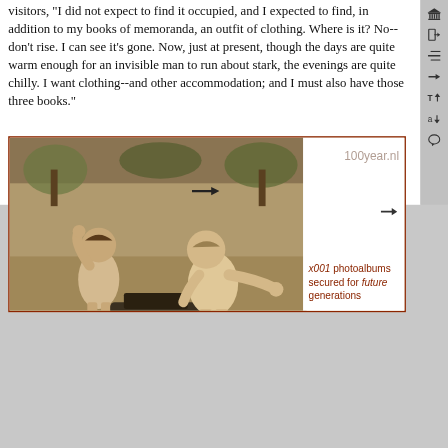visitors, "I did not expect to find it occupied, and I expected to find, in addition to my books of memoranda, an outfit of clothing. Where is it? No--don't rise. I can see it's gone. Now, just at present, though the days are quite warm enough for an invisible man to run about stark, the evenings are quite chilly. I want clothing--and other accommodation; and I must also have those three books."
[Figure (photo): Vintage sepia-toned photograph of two young children outdoors on grass. A smaller child on left raises one hand and stands near a toy pedal car or wagon. An older child on the right leans forward over the toy vehicle. Background shows trees and outdoor setting. White panel on right side contains watermark '100year.nl' and promotional text 'x001 photoalbums secured for future generations' in red/brown.]